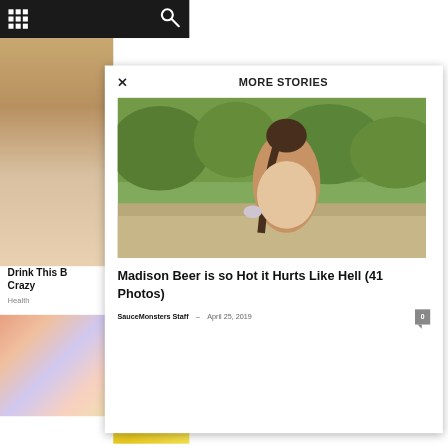Navigation bar with grid menu icon and search icon
[Figure (screenshot): Background page content showing blurred photos of drinks and colorful items behind a modal overlay]
MORE STORIES
[Figure (photo): Photo of Madison Beer, a young woman with braided hair holding sunglasses, outdoors with trees in background]
Madison Beer is so Hot it Hurts Like Hell (41 Photos)
SauceMonsters Staff  -  April 25, 2019